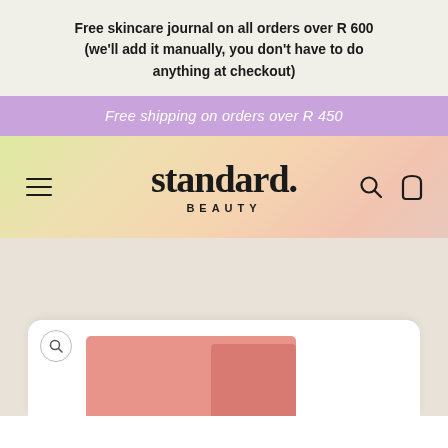Free skincare journal on all orders over R 600 (we'll add it manually, you don't have to do anything at checkout)
Free shipping on orders over R 450
[Figure (screenshot): Standard Beauty website header with hamburger menu, logo 'standard. BEAUTY', search and bag icons on a pastel gradient background]
[Figure (photo): Product image showing pink/salmon colored skincare product boxes at the bottom of the page on a light beige background]